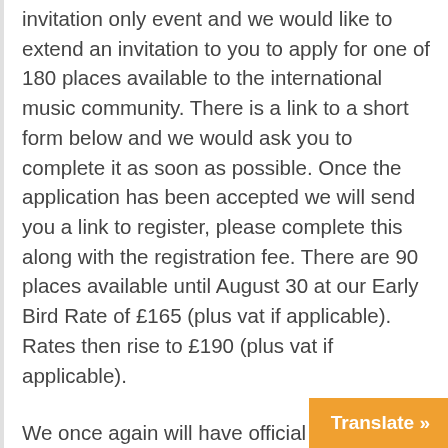invitation only event and we would like to extend an invitation to you to apply for one of 180 places available to the international music community. There is a link to a short form below and we would ask you to complete it as soon as possible. Once the application has been accepted we will send you a link to register, please complete this along with the registration fee. There are 90 places available until August 30 at our Early Bird Rate of £165 (plus vat if applicable). Rates then rise to £190 (plus vat if applicable).
We once again will have official partner hotels and when you are sent the link to register you will also be sent information on our reduced hotel rates. One of the official hote
Translate »